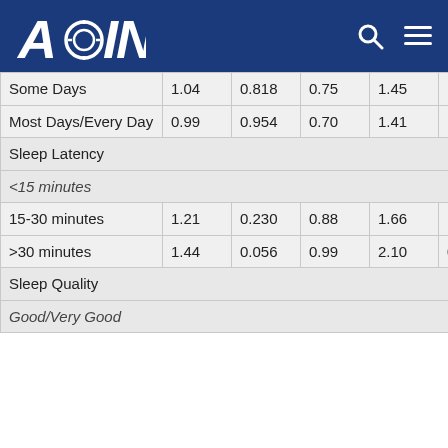AGING
|  | OR | p | 95% CI Low | 95% CI High | OR | p |
| --- | --- | --- | --- | --- | --- | --- |
| Some Days | 1.04 | 0.818 | 0.75 | 1.45 | 1.14 | 0.416 |
| Most Days/Every Day | 0.99 | 0.954 | 0.70 | 1.41 | 1.34 | 0.080 |
| Sleep Latency |  |  |  |  |  |  |
| <15 minutes |  |  |  |  |  |  |
| 15-30 minutes | 1.21 | 0.230 | 0.88 | 1.66 | 1.21 | 0.198 |
| >30 minutes | 1.44 | 0.056 | 0.99 | 2.10 | 0.98 | 0.901 |
| Sleep Quality |  |  |  |  |  |  |
| Good/Very Good |  |  |  |  |  |  |